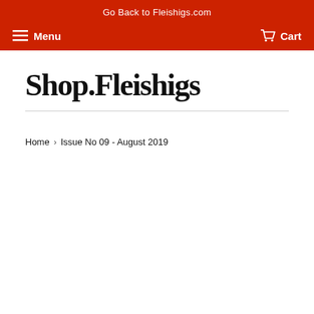Go Back to Fleishigs.com
Menu  Cart
Shop.Fleishigs
Home › Issue No 09 - August 2019